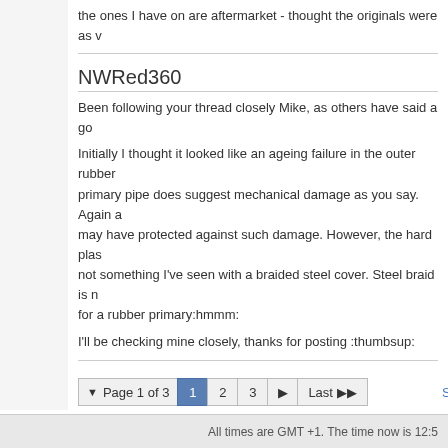the ones I have on are aftermarket - thought the originals were as w
NWRed360
Been following your thread closely Mike, as others have said a go
Initially I thought it looked like an ageing failure in the outer rubber primary pipe does suggest mechanical damage as you say. Again a may have protected against such damage. However, the hard plas not something I've seen with a braided steel cover. Steel braid is n for a rubber primary:hmmm:
I'll be checking mine closely, thanks for posting :thumbsup:
Mike01606
Seeing the mark on the inner at full size I think it might be a kink. I' point but I'll have a look at it under magnification.
I'll also kink in in a different place when I finally take if off to see wh Hopefully the parts are available although none are showing in sto
Page 1 of 3
All times are GMT +1. The time now is 12:5